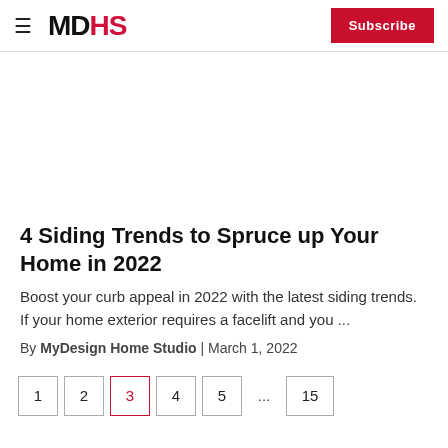MDHS | Subscribe
4 Siding Trends to Spruce up Your Home in 2022
Boost your curb appeal in 2022 with the latest siding trends. If your home exterior requires a facelift and you ...
By MyDesign Home Studio | March 1, 2022
Pagination: 1 2 3 4 5 ... 15